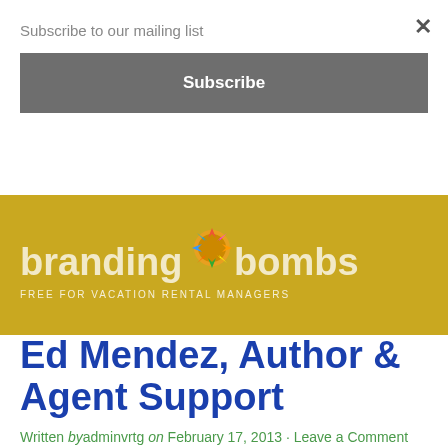Subscribe to our mailing list
Subscribe
[Figure (logo): Branding Bombs logo with colorful explosion graphic and tagline FREE FOR VACATION RENTAL MANAGERS on gold background]
Ed Mendez, Author & Agent Support
Written by adminvrtg on February 17, 2013 · Leave a Comment